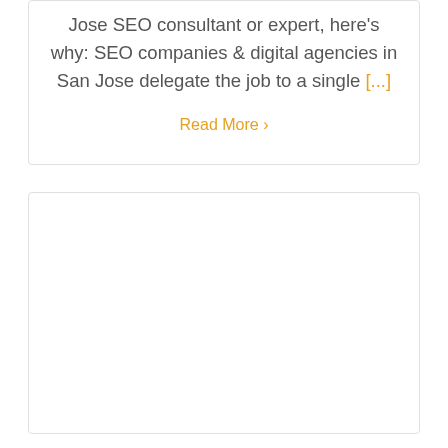Jose SEO consultant or expert, here’s why: SEO companies & digital agencies in San Jose delegate the job to a single [...]
Read More ›
[Figure (other): Empty white card/box placeholder]